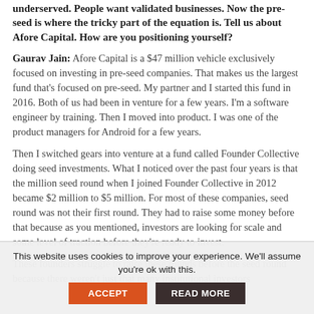underserved. People want validated businesses. Now the pre-seed is where the tricky part of the equation is. Tell us about Afore Capital. How are you positioning yourself?
Gaurav Jain: Afore Capital is a $47 million vehicle exclusively focused on investing in pre-seed companies. That makes us the largest fund that's focused on pre-seed. My partner and I started this fund in 2016. Both of us had been in venture for a few years. I'm a software engineer by training. Then I moved into product. I was one of the product managers for Android for a few years.
Then I switched gears into venture at a fund called Founder Collective doing seed investments. What I noticed over the past four years is that the million seed round when I joined Founder Collective in 2012 became $2 million to $5 million. For most of these companies, seed round was not their first round. They had to raise some money before that because as you mentioned, investors are looking for scale and some level of traction before they're ready to invest.
These founders struggle to raise these rounds before the seed round because there weren't just that many institutional investors
This website uses cookies to improve your experience. We'll assume you're ok with this.